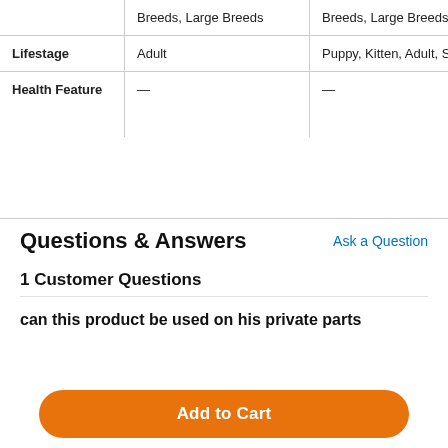|  | Breeds, Large Breeds | Breeds, Large Breeds | B... |
| --- | --- | --- | --- |
| Lifestage | Adult | Puppy, Kitten, Adult, Senior | A... |
| Health Feature | — | — | I... R... H... |
Questions & Answers
Ask a Question
1 Customer Questions
can this product be used on his private parts